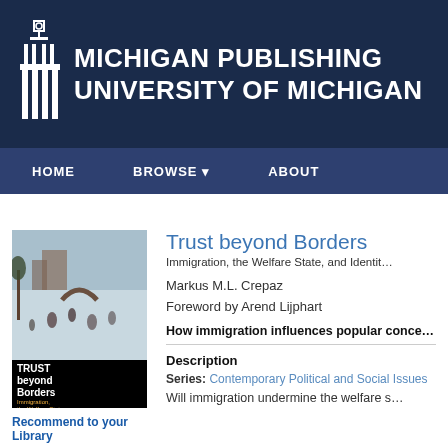Michigan Publishing University of Michigan
HOME  BROWSE  ABOUT
[Figure (illustration): Book cover of 'Trust beyond Borders: Immigration, the Welfare State, and Identity in Modern Societies' by Markus M.L. Crepaz, Foreword by Arend Lijphart. Cover features a winter landscape painting.]
Recommend to your Library
Trust beyond Borders
Immigration, the Welfare State, and Identity in Modern Societies
Markus M.L. Crepaz
Foreword by Arend Lijphart
How immigration influences popular conceptions of trust and the welfare state
Description
Series: Contemporary Political and Social Issues
Will immigration undermine the welfare state?